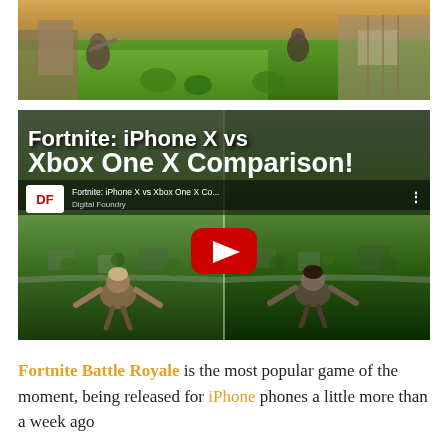[Figure (screenshot): Fortnite Battle Royale game screenshot showing characters in grassy outdoor environment with wooden structures]
[Figure (screenshot): YouTube video thumbnail: 'Fortnite: iPhone X vs Xbox One X Comparison!' showing split-screen comparison of two players skydiving over a map, with YouTube play button overlay and Digital Foundry channel logo]
Fortnite Battle Royale is the most popular game of the moment, being released for iPhone phones a little more than a week ago